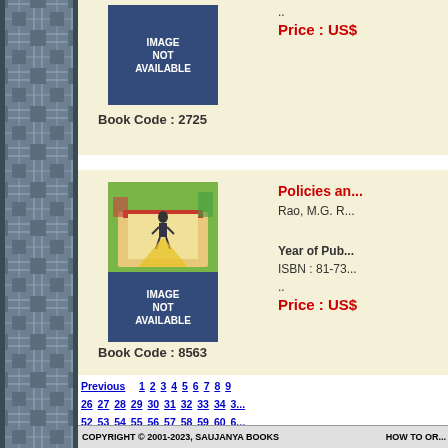[Figure (other): Book image placeholder (IMAGE NOT AVAILABLE) for book code 2725]
Book Code : 2725
.. Price : US$
[Figure (other): Book cover illustration and IMAGE NOT AVAILABLE placeholder for book code 8563]
Policies an...
Rao, M.G. R...
Year of Pub... ISBN : 81-73...
.. Price : US$
Book Code : 8563
Previous    1 2 3 4 5 6 7 8 9  26 27 28 29 30 31 32 33 34 3  52 53 54 55 56 57 58 59 60 6  78 79 80 81 82 83 84 85 86 8  103 104 105 106 107 108 10  121 122 123
COPYRIGHT © 2001-2023, SAUJANYA BOOKS    HOW TO OR...